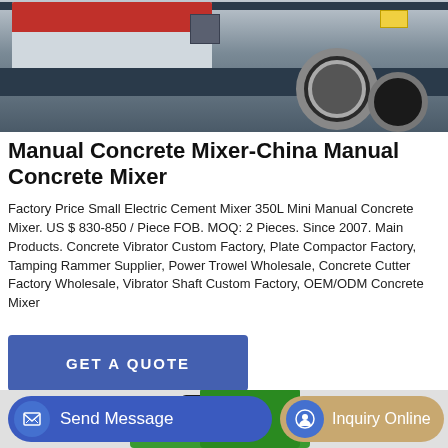[Figure (photo): Photo of a large concrete mixer truck, showing the lower portion with a large wheel and dark chassis, white/grey body with red top section]
Manual Concrete Mixer-China Manual Concrete Mixer
Factory Price Small Electric Cement Mixer 350L Mini Manual Concrete Mixer. US $ 830-850 / Piece FOB. MOQ: 2 Pieces. Since 2007. Main Products. Concrete Vibrator Custom Factory, Plate Compactor Factory, Tamping Rammer Supplier, Power Trowel Wholesale, Concrete Cutter Factory Wholesale, Vibrator Shaft Custom Factory, OEM/ODM Concrete Mixer
[Figure (other): Button: GET A QUOTE (blue background, white text)]
[Figure (photo): Photo of a small manual concrete mixer with a black drum and green frame/stand]
[Figure (other): Bottom action bar with Send Message button (blue) and Inquiry Online button (tan/gold)]